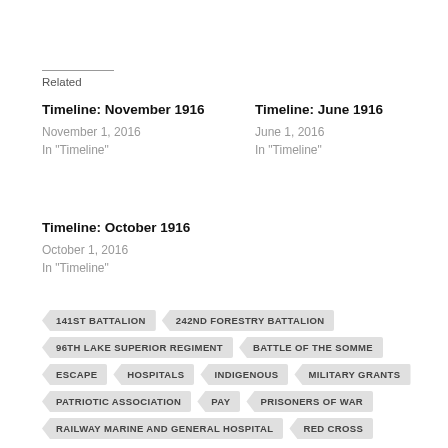Related
Timeline: November 1916
November 1, 2016
In "Timeline"
Timeline: June 1916
June 1, 2016
In "Timeline"
Timeline: October 1916
October 1, 2016
In "Timeline"
141ST BATTALION
242ND FORESTRY BATTALION
96TH LAKE SUPERIOR REGIMENT
BATTLE OF THE SOMME
ESCAPE
HOSPITALS
INDIGENOUS
MILITARY GRANTS
PATRIOTIC ASSOCIATION
PAY
PRISONERS OF WAR
RAILWAY MARINE AND GENERAL HOSPITAL
RED CROSS